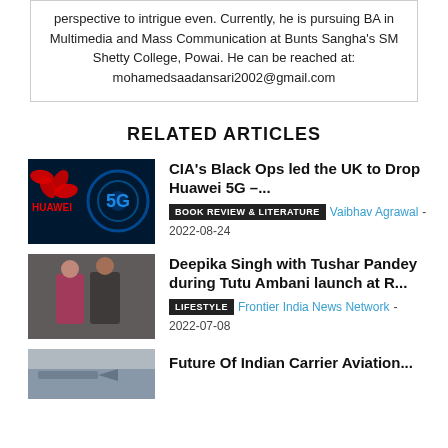perspective to intrigue even. Currently, he is pursuing BA in Multimedia and Mass Communication at Bunts Sangha's SM Shetty College, Powai. He can be reached at: mohamedsaadansari2002@gmail.com
RELATED ARTICLES
[Figure (photo): Huawei 5G tech image with red Huawei logo on dark blue background with 5G text]
CIA's Black Ops led the UK to Drop Huawei 5G –...
BOOK REVIEW & LITERATURE   Vaibhav Agrawal - 2022-08-24
[Figure (photo): Deepika Singh with Tushar Pandey at an event]
Deepika Singh with Tushar Pandey during Tutu Ambani launch at R...
LIFESTYLE   Frontier India News Network - 2022-07-08
[Figure (photo): Partial image for Future Of Indian Carrier Aviation article]
Future Of Indian Carrier Aviation...